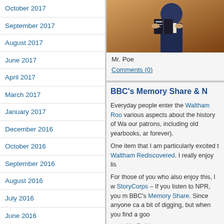October 2017
September 2017
August 2017
June 2017
April 2017
March 2017
January 2017
December 2016
October 2016
September 2016
August 2016
July 2016
June 2016
May 2016
April 2016
March 2016
February 2016
January 2016
December 2015
October 2015
[Figure (photo): Person in dark suit reading a book, orange/brown background]
Mr. Poe
Comments (0)
BBC's Memory Share & N
Everyday people enter the Waltham Roo various aspects about the history of Wa our patrons, including old yearbooks, ar forever).
One item that I am particularly excited t Waltham Rediscovered. I really enjoy lis
For those of you who also enjoy this, I w StoryCorps – If you listen to NPR, you m BBC's Memory Share. Since anyone ca a bit of digging, but when you find a goo
posted by Todd
Comments (0)